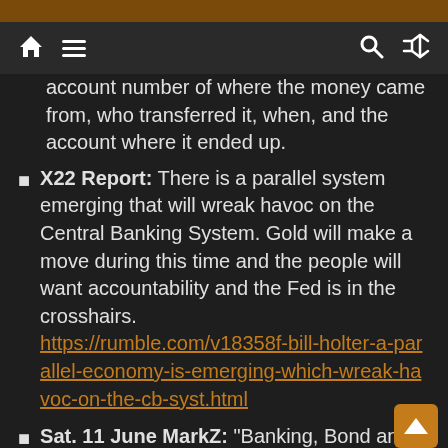Navigation bar with home, menu, search, and shuffle icons
account number of where the money came from, who transferred it, when, and the account where it ended up.
X22 Report: There is a parallel system emerging that will wreak havoc on the Central Banking System. Gold will make a move during this time and the people will want accountability and the Fed is in the crosshairs. https://rumble.com/v18358f-bill-holter-a-parallel-economy-is-emerging-which-wreak-havoc-on-the-cb-syst.html
Sat. 11 June MarkZ: "Banking, Bond and Church groups promised funds released over the weekend with spendable liquid cash. Shabbi said the Dinar could go between $14 to $17. The Banking side was leaning hard on everyone to shut up on the timing and on who was coming, going and when. Bank tellers were being trained in how to validate Vietnamese Dong and Iraqi Dinar.  Bond Holders expected